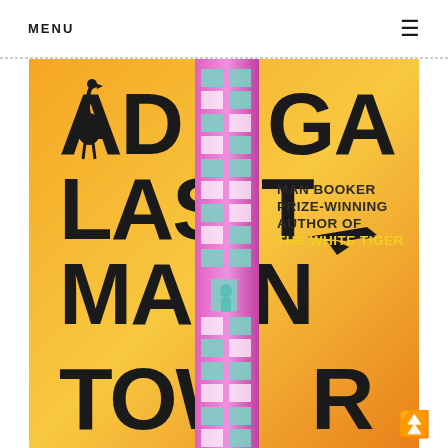MENU
[Figure (illustration): Book cover of 'Last Man in Tower' by Adiga. Orange/yellow gradient background with large bold black letters spelling ADIGA LAST MAN IN TOWER. A pink/magenta tall tower building runs vertically through the center with teal/mint window panes. A flamingo silhouette on the left, an airplane silhouette on the right, and a small figure standing in the tower. Text on right reads: MAN BOOKER PRIZE-WINNING AUTHOR OF THE WHITE TIGER in yellow.]